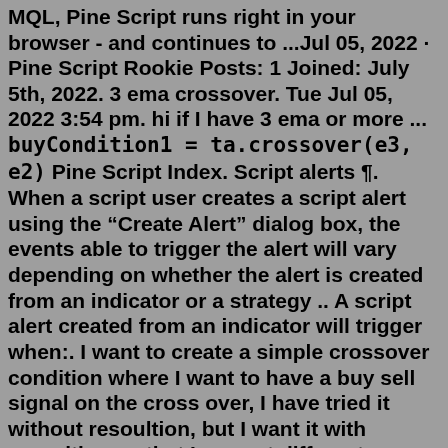MQL, Pine Script runs right in your browser - and continues to ...Jul 05, 2022 · Pine Script Rookie Posts: 1 Joined: July 5th, 2022. 3 ema crossover. Tue Jul 05, 2022 3:54 pm. hi if I have 3 ema or more ... buyCondition1 = ta.crossover(e3, e2) Pine Script Index. Script alerts ¶. When a script user creates a script alert using the "Create Alert" dialog box, the events able to trigger the alert will vary depending on whether the alert is created from an indicator or a strategy .. A script alert created from an indicator will trigger when:. I want to create a simple crossover condition where I want to have a buy sell signal on the cross over, I have tried it without resoultion, but I want it with resoultion so that I can set different timeframe for my VWMA. Here's my code, please edit it and let me know, it'd be a great help. // This source code is subject to the terms of the ...11 hours ago · I am extremely new to Programming and determined to build a crossover alert for EMA with value of 5 and VWAP with 5 minute timeframe. I amd trying to do this using If else statement using